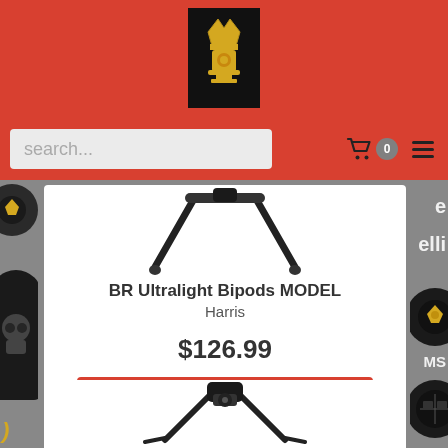[Figure (screenshot): Website header with red background and black logo box containing a golden crown/trophy icon]
[Figure (screenshot): Search bar row on red background with search input field, shopping cart icon with badge showing 0, and hamburger menu icon]
[Figure (photo): Product image of BR Ultralight Bipods with two legs visible from top view]
BR Ultralight Bipods MODEL
Harris
$126.99
Add To Cart
[Figure (photo): Second product image - a bipod viewed from front, partially visible]